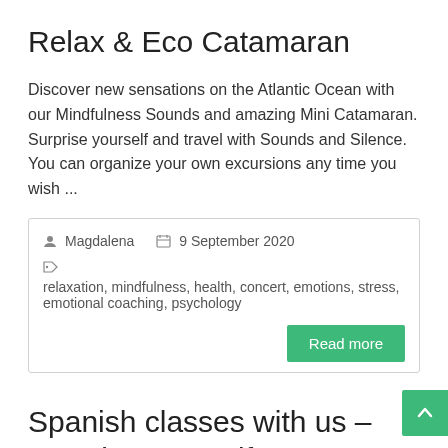Relax & Eco Catamaran
Discover new sensations on the Atlantic Ocean with our Mindfulness Sounds and amazing Mini Catamaran. Surprise yourself and travel with Sounds and Silence. You can organize your own excursions any time you wish ...
Magdalena  9 September 2020  relaxation, mindfulness, health, concert, emotions, stress, emotional coaching, psychology
Read more
Spanish classes with us – Surprise yourself